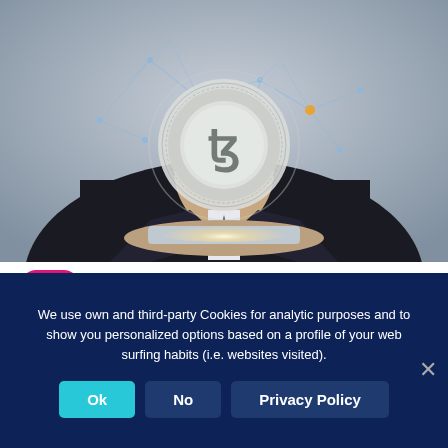[Figure (photo): A man in a dark suit holding a glowing Tezos (XTZ) cryptocurrency coin above a tablet, surrounded by blockchain network graphics and orange nodes on a light grey background.]
M
Miguel Muñoz
What is Tezos (XTZ)?
We use own and third-party Cookies for analytic purposes and to show you personalized options based on a profile of your web surfing habits (i.e. websites visited).
Ok
No
Privacy Policy